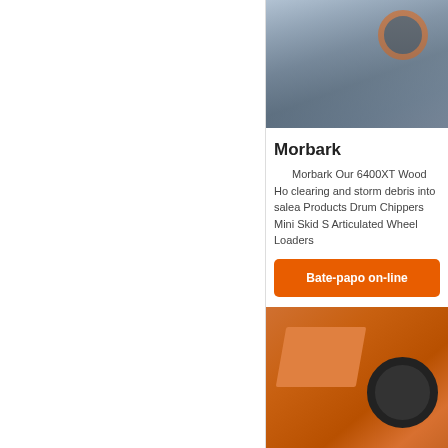[Figure (photo): Industrial crushing/processing machine with metal structure, stairs, and orange wheel against a cloudy sky]
Morbark
Morbark Our 6400XT Wood Ho clearing and storm debris into salea Products Drum Chippers Mini Skid S Articulated Wheel Loaders
Bate-papo on-line
[Figure (photo): Large orange industrial jaw crusher machine outdoors on dirt/rocky ground]